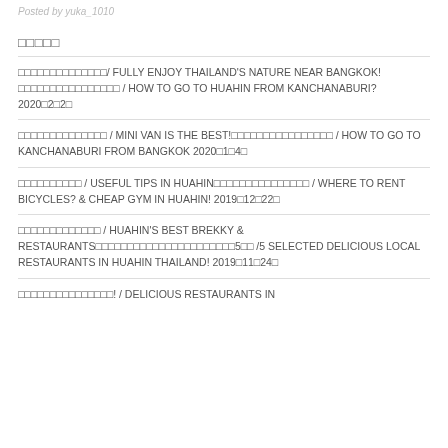Posted by yuka_1010
□□□□□
□□□□□□□□□□□□□□/ FULLY ENJOY THAILAND'S NATURE NEAR BANGKOK!□□□□□□□□□□□□□□□□ / HOW TO GO TO HUAHIN FROM KANCHANABURI? 2020□2□2□
□□□□□□□□□□□□□□ / MINI VAN IS THE BEST!□□□□□□□□□□□□□□□□ / HOW TO GO TO KANCHANABURI FROM BANGKOK 2020□1□4□
□□□□□□□□□□ / USEFUL TIPS IN HUAHIN□□□□□□□□□□□□□□□ / WHERE TO RENT BICYCLES? & CHEAP GYM IN HUAHIN! 2019□12□22□
□□□□□□□□□□□□□ / HUAHIN'S BEST BREKKY & RESTAURANTS□□□□□□□□□□□□□□□□□□□□□□5□□ /5 SELECTED DELICIOUS LOCAL RESTAURANTS IN HUAHIN THAILAND! 2019□11□24□
□□□□□□□□□□□□□□□! / DELICIOUS RESTAURANTS IN